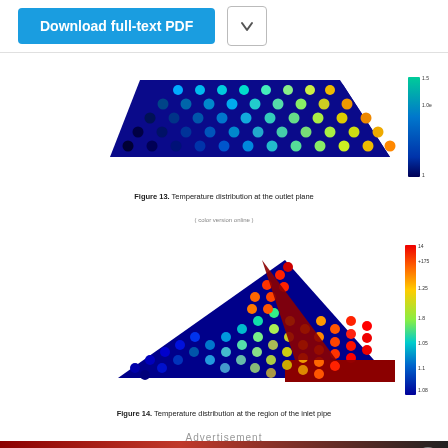Download full-text PDF
[Figure (engineering-diagram): Temperature distribution at the outlet plane - trapezoid-shaped cross-section with color gradient from blue (cool) to red/orange (hot) dots, with a vertical colorbar on the right side (blue to green scale).]
Figure 13. Temperature distribution at the outlet plane
( color version online )
[Figure (engineering-diagram): Temperature distribution at the region of the inlet pipe - triangular shape with hexagonal pattern dots transitioning from blue (cool, left) to red/orange (hot, right/peak), with deep red solid region at right, and a vertical colorbar on the right side (red to blue scale).]
Figure 14. Temperature distribution at the region of the inlet pipe